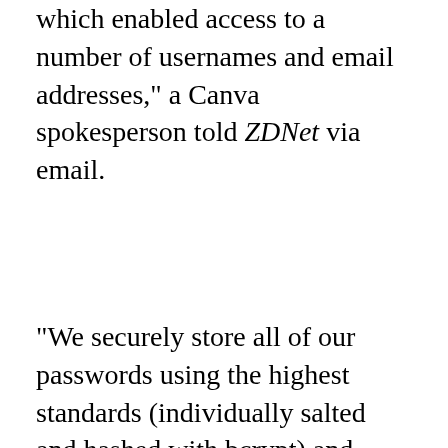which enabled access to a number of usernames and email addresses," a Canva spokesperson told ZDNet via email.
"We securely store all of our passwords using the highest standards (individually salted and hashed with bcrypt) and have no evidence that any of our users' credentials have been compromised. As a safeguard, we are encouraging our community to